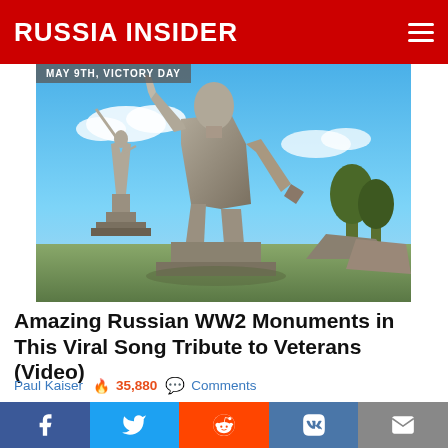RUSSIA INSIDER
MAY 9TH, VICTORY DAY
[Figure (photo): Stone statue of a Soviet WWII soldier holding a rifle, with the Motherland Calls monument visible in the background against a blue sky]
Amazing Russian WW2 Monuments in This Viral Song Tribute to Veterans (Video)
Paul Kaiser  35,880  Comments
[Figure (photo): Partial view of a second image, appears to be another monument or memorial scene]